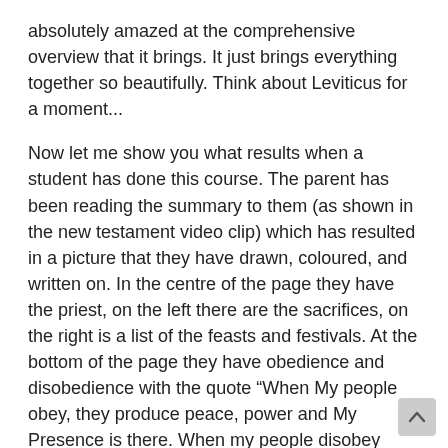absolutely amazed at the comprehensive overview that it brings. It just brings everything together so beautifully. Think about Leviticus for a moment...
Now let me show you what results when a student has done this course. The parent has been reading the summary to them (as shown in the new testament video clip) which has resulted in a picture that they have drawn, coloured, and written on. In the centre of the page they have the priest, on the left there are the sacrifices, on the right is a list of the feasts and festivals. At the bottom of the page they have obedience and disobedience with the quote “When My people obey, they produce peace, power and My Presence is there. When my people disobey there is terror and no peace.”
So as you can see, ‘Picture Smart’ is pictorial and leaves an image in your mind. It’s like a photographs of each book of the Bible. If you think about that picture of Leviticus mentioned earlier, you will immediately have that picture in your mind. Hence, you have an overview of the effectiveness of ‘Picture